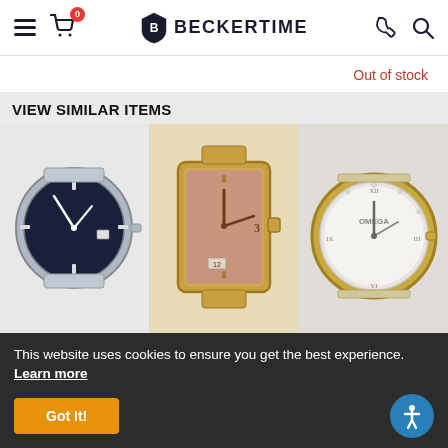BECKERTIME — navigation header with hamburger menu, cart (0), logo, phone, and search icons
Out of stock
VIEW SIMILAR ITEMS
[Figure (photo): Mens SBGP007 60th Anniversary Grand Seiko watch with black dial and silver bracelet]
Mens SBGP007 60th Anniversary Grand
[Figure (photo): Pre-Owned Yellow Gold Jaeger-LeCoultre Reverso watch with rectangular gold case]
Pre-Owned Yellow Gold Jaeger-
[Figure (photo): Ladies Two-Tone Omega Constellation watch with white dial and Roman numerals]
Ladies Two-Tone Omega
This website uses cookies to ensure you get the best experience. Learn more
Got It!